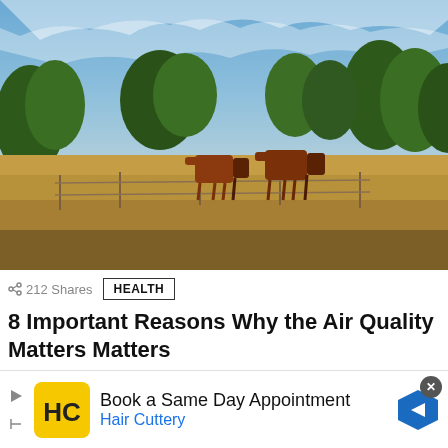[Figure (photo): Outdoor pastoral scene with cows grazing in a dry grass field, dense green trees in background, blue sky with wispy clouds]
< 212 Shares   HEALTH
8 Important Reasons Why the Air Quality Matters Matters
[Figure (photo): Partial second article image, light teal/blue tones with grass]
Book a Same Day Appointment
Hair Cuttery